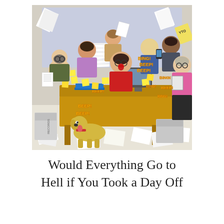[Figure (illustration): A chaotic cartoon illustration of a busy office scene. A woman sits at a cluttered desk surrounded by flying papers, sticky notes, and computers with 'BING!', 'BEEP!' sound effects shown in yellow text. Multiple coworkers crowd around her looking stressed, shouting, and waving documents. A yellow dog stands in the foreground. Filing boxes labeled 'RECORDS' are visible. Everyone appears overwhelmed and panicked.]
Would Everything Go to Hell if You Took a Day Off